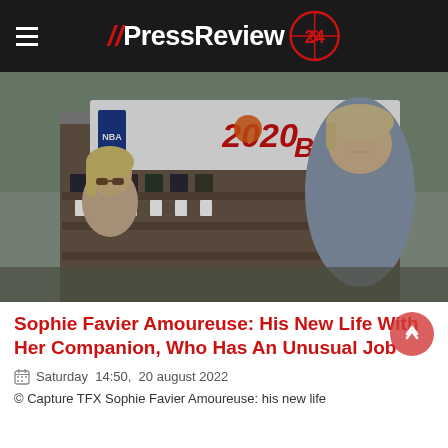// PressReview 24
[Figure (photo): Two people standing outdoors in front of a carnival/fair game stall with a banner reading '2020 Basket'. A blonde woman wearing sunglasses is on the left, and a man with light hair wearing a blue shirt is on the right.]
Sophie Favier Amoureuse: His New Life With Her Companion, Who Has An Unusual Job
Saturday 14:50, 20 august 2022
© Capture TFX Sophie Favier Amoureuse: his new life